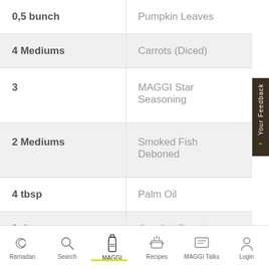0,5 bunch — Pumpkin Leaves
4 Mediums — Carrots (Diced)
3 — MAGGI Star Seasoning
2 Mediums — Smoked Fish Deboned
4 tbsp — Palm Oil
2 tbsp — Crayfish Powder
Ramadan | Search | MAGGI | Recipes | MAGGI Talks | Login